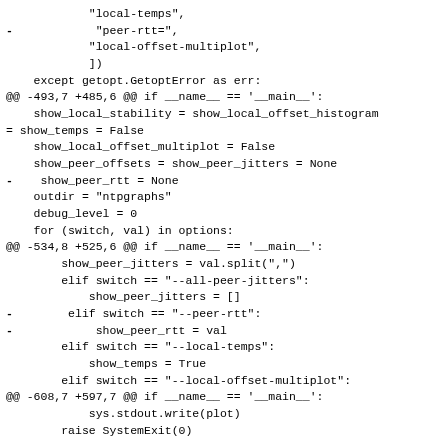"local-temps",
- "peer-rtt=",
 "local-offset-multiplot",
 ])
 except getopt.GetoptError as err:
@@ -493,7 +485,6 @@ if __name__ == '__main__':
 show_local_stability = show_local_offset_histogram
= show_temps = False
 show_local_offset_multiplot = False
 show_peer_offsets = show_peer_jitters = None
- show_peer_rtt = None
 outdir = "ntpgraphs"
 debug_level = 0
 for (switch, val) in options:
@@ -534,8 +525,6 @@ if __name__ == '__main__':
 show_peer_jitters = val.split(",")
 elif switch == "--all-peer-jitters":
 show_peer_jitters = []
- elif switch == "--peer-rtt":
- show_peer_rtt = val
 elif switch == "--local-temps":
 show_temps = True
 elif switch == "--local-offset-multiplot":
@@ -608,7 +597,7 @@ if __name__ == '__main__':
 sys.stdout.write(plot)
 raise SystemExit(0)

- if show_peer_offsets is not None or
show_peer_jitters is not None or show_peer_rtt is not
None: